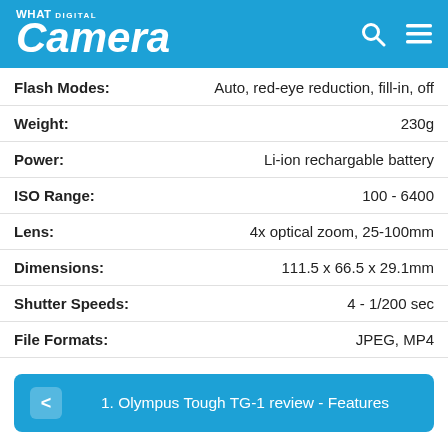What Digital Camera
| Field | Value |
| --- | --- |
| Flash Modes: | Auto, red-eye reduction, fill-in, off |
| Weight: | 230g |
| Power: | Li-ion rechargable battery |
| ISO Range: | 100 - 6400 |
| Lens: | 4x optical zoom, 25-100mm |
| Dimensions: | 111.5 x 66.5 x 29.1mm |
| Shutter Speeds: | 4 - 1/200 sec |
| File Formats: | JPEG, MP4 |
1. Olympus Tough TG-1 review - Features
Page 2 of 2 - Show Full List